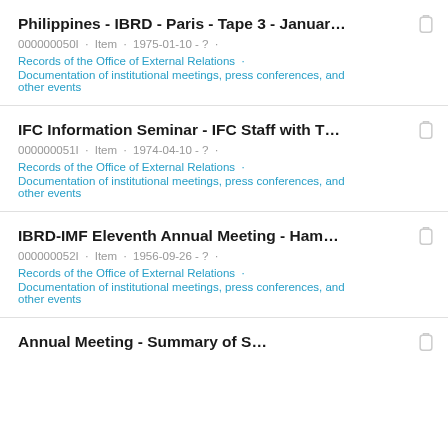Philippines - IBRD - Paris - Tape 3 - Januar...
000000050I · Item · 1975-01-10 - ? ·
Records of the Office of External Relations ·
Documentation of institutional meetings, press conferences, and other events
IFC Information Seminar - IFC Staff with T...
000000051I · Item · 1974-04-10 - ? ·
Records of the Office of External Relations ·
Documentation of institutional meetings, press conferences, and other events
IBRD-IMF Eleventh Annual Meeting - Ham...
000000052I · Item · 1956-09-26 - ? ·
Records of the Office of External Relations ·
Documentation of institutional meetings, press conferences, and other events
Annual Meeting - Summary of S...